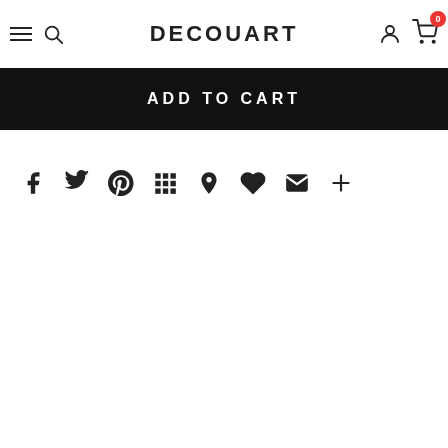DECOUART
ADD TO CART
[Figure (other): Social sharing icons row: Facebook, Twitter, Pinterest, Grid/Apps, Bookmark, Heart/Like, Email/Envelope, Plus/More]